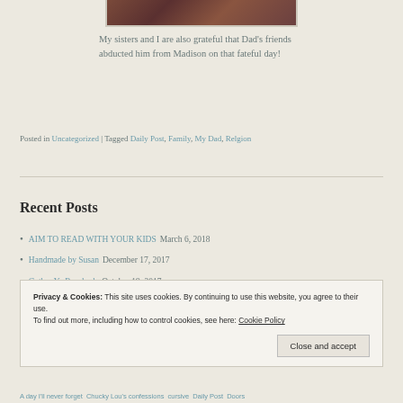[Figure (photo): Partial image of people or scene, cropped at top of page]
My sisters and I are also grateful that Dad's friends abducted him from Madison on that fateful day!
Posted in Uncategorized | Tagged Daily Post, Family, My Dad, Relgion
Recent Posts
AIM TO READ WITH YOUR KIDS March 6, 2018
Handmade by Susan December 17, 2017
Gather Ye Rosebuds October 19, 2017
Privacy & Cookies: This site uses cookies. By continuing to use this website, you agree to their use.
To find out more, including how to control cookies, see here: Cookie Policy
Close and accept
A day I'll never forget  Chucky Lou's confessions  cursive  Daily Post  Doors